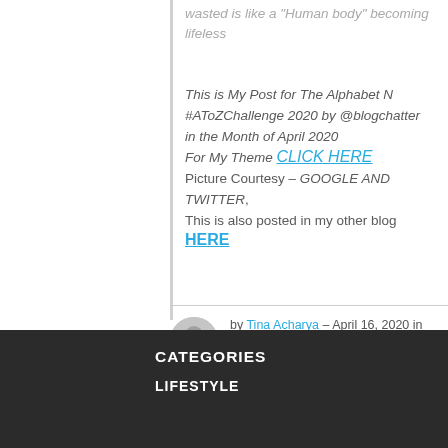wasted is like a "Human body" becoming lifeless
This is My Post for The Alphabet N #AToZChallenge 2020 by @blogchatter in the Month of April 2020
For My Theme CLICK HERE
Picture Courtesy – GOOGLE AND TWITTER,
This is also posted in my other blog HERE
by Tina Acharya – April 16, 2020 in SOCIAL ISSUES
CATEGORIES
LIFESTYLE